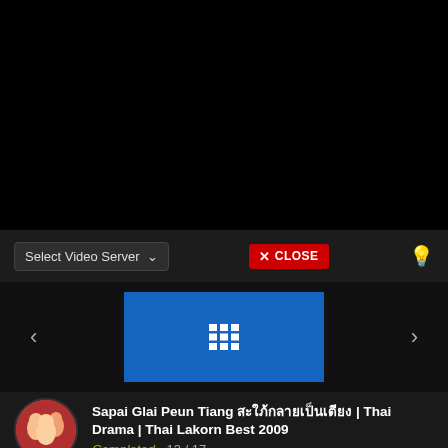[Figure (screenshot): Black video player area]
Select Video Server
X CLOSE
[Figure (screenshot): Navigation bar with left arrow, blue grid/list button, and right arrow]
Sapai Glai Peun Tiang สะใภ้กลายเป็นเตียง | Thai Drama | Thai Lakorn Best 2009
Completed - 13 / 17